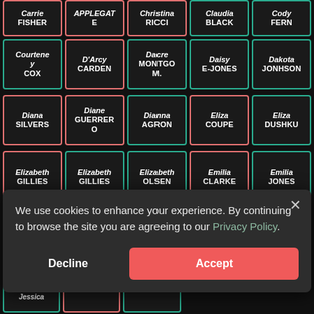[Figure (screenshot): Grid of celebrity name cards on dark background, partially covered by a cookie consent modal. Row 1 (partial): Carrie FISHER, APPLEGATE, Christina RICCI, Claudia BLACK, Cody FERN. Row 2: Courteney COX, D'Arcy CARDEN, Dacre MONTGO M., Daisy E-JONES, Dakota JONHSON. Row 3: Diana SILVERS, Diane GUERRERO, Dianna AGRON, Eliza COUPE, Eliza DUSHKU. Row 4: Elizabeth GILLIES, Elizabeth GILLIES, Elizabeth OLSEN, Emilia CLARKE, Emilia JONES. Partial row 5: partially visible card with F-name. Cookie modal overlay with Decline and Accept buttons.]